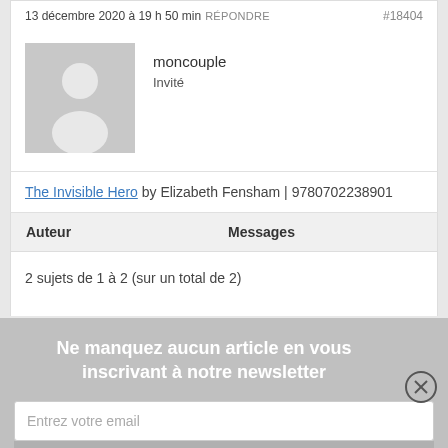13 décembre 2020 à 19 h 50 min RÉPONDRE #18404
[Figure (illustration): Generic user avatar placeholder — grey square with white silhouette of a person]
moncouple
Invité
The Invisible Hero by Elizabeth Fensham | 9780702238901
| Auteur | Messages |
| --- | --- |
2 sujets de 1 à 2 (sur un total de 2)
Ne manquez aucun article en vous inscrivant à notre newsletter
Entrez votre email
Inscription